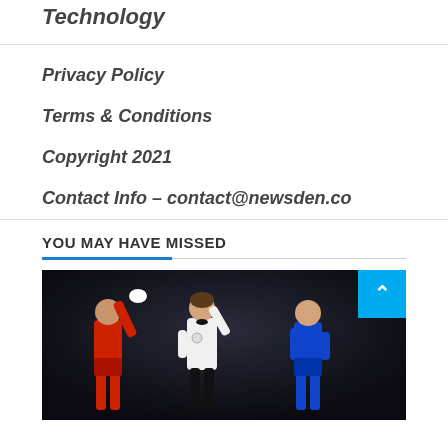Technology
Privacy Policy
Terms & Conditions
Copyright 2021
Contact Info – contact@newsden.co
YOU MAY HAVE MISSED
[Figure (photo): Boxing match photo showing a referee raising the arm of a boxer in red, with another boxer in blue standing to the right, dark background arena setting.]